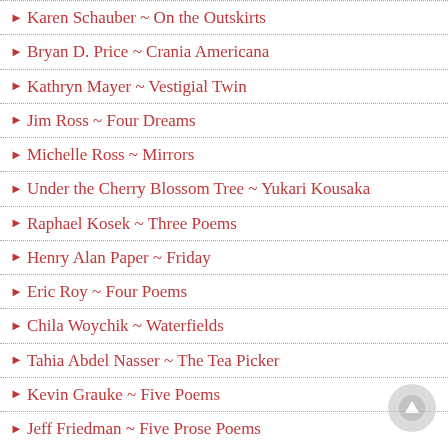Karen Schauber ~ On the Outskirts
Bryan D. Price ~ Crania Americana
Kathryn Mayer ~ Vestigial Twin
Jim Ross ~ Four Dreams
Michelle Ross ~ Mirrors
Under the Cherry Blossom Tree ~ Yukari Kousaka
Raphael Kosek ~ Three Poems
Henry Alan Paper ~ Friday
Eric Roy ~ Four Poems
Chila Woychik ~ Waterfields
Tahia Abdel Nasser ~ The Tea Picker
Kevin Grauke ~ Five Poems
Jeff Friedman ~ Five Prose Poems